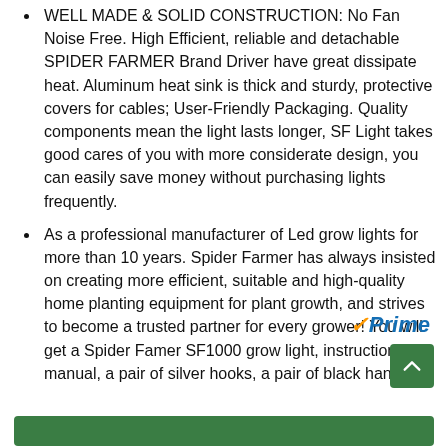WELL MADE & SOLID CONSTRUCTION: No Fan Noise Free. High Efficient, reliable and detachable SPIDER FARMER Brand Driver have great dissipate heat. Aluminum heat sink is thick and sturdy, protective covers for cables; User-Friendly Packaging. Quality components mean the light lasts longer, SF Light takes good cares of you with more considerate design, you can easily save money without purchasing lights frequently.
As a professional manufacturer of Led grow lights for more than 10 years. Spider Farmer has always insisted on creating more efficient, suitable and high-quality home planting equipment for plant growth, and strives to become a trusted partner for every grower! You will get a Spider Famer SF1000 grow light, instruction manual, a pair of silver hooks, a pair of black hangers.